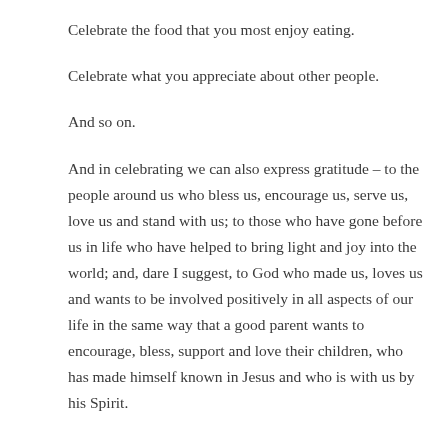Celebrate the food that you most enjoy eating.
Celebrate what you appreciate about other people.
And so on.
And in celebrating we can also express gratitude – to the people around us who bless us, encourage us, serve us, love us and stand with us; to those who have gone before us in life who have helped to bring light and joy into the world; and, dare I suggest, to God who made us, loves us and wants to be involved positively in all aspects of our life in the same way that a good parent wants to encourage, bless, support and love their children, who has made himself known in Jesus and who is with us by his Spirit.